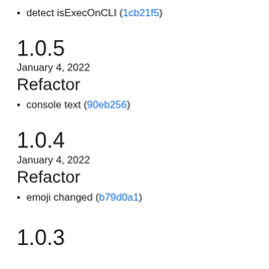detect isExecOnCLI (1cb21f5)
1.0.5
January 4, 2022
Refactor
console text (90eb256)
1.0.4
January 4, 2022
Refactor
emoji changed (b79d0a1)
1.0.3